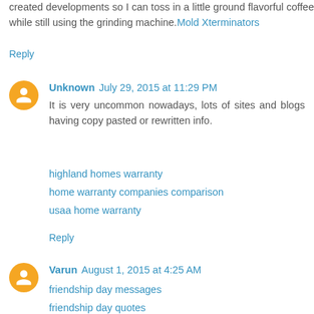created developments so I can toss in a little ground flavorful coffee while still using the grinding machine. Mold Xterminators
Reply
Unknown July 29, 2015 at 11:29 PM
It is very uncommon nowadays, lots of sites and blogs having copy pasted or rewritten info.
highland homes warranty
home warranty companies comparison
usaa home warranty
Reply
Varun August 1, 2015 at 4:25 AM
friendship day messages
friendship day quotes